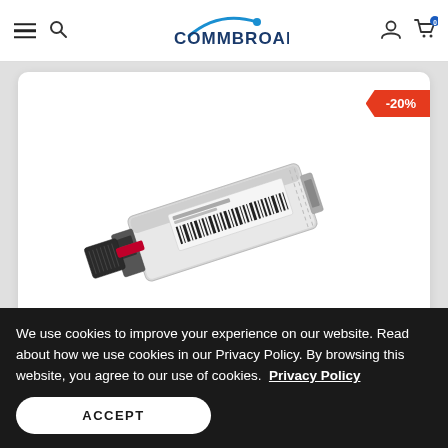COMMBROAD - navigation header with hamburger menu, search, logo, user icon, cart with badge 0
[Figure (photo): SFP fiber optic transceiver module shown at an angle, white/silver body with black pull tab and red latch, label with barcode visible on top. Displayed in a white card with a -20% discount badge.]
We use cookies to improve your experience on our website. Read about how we use cookies in our Privacy Policy. By browsing this website, you agree to our use of cookies.  Privacy Policy
ACCEPT